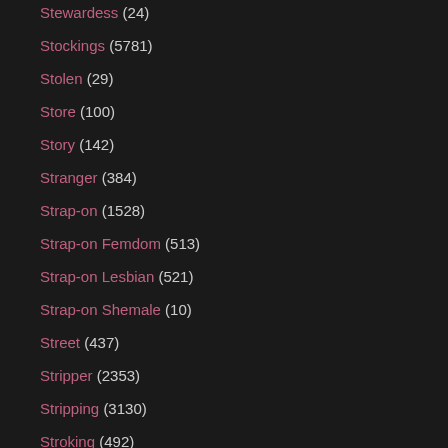Stewardess (24)
Stockings (5781)
Stolen (29)
Store (100)
Story (142)
Stranger (384)
Strap-on (1528)
Strap-on Femdom (513)
Strap-on Lesbian (521)
Strap-on Shemale (10)
Street (437)
Stripper (2353)
Stripping (3130)
Stroking (492)
Stud (216)
Student (446)